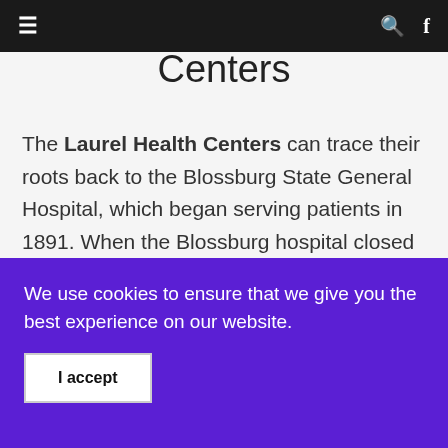≡  [navigation bar with search and facebook icons]
Centers
The Laurel Health Centers can trace their roots back to the Blossburg State General Hospital, which began serving patients in 1891. When the Blossburg hospital closed its doors in 1972, local residents were determined to preserve access to care and founded North Penn Comprehensive Health Services (NPCHS). North Penn opened its
We use cookies to ensure that we give you the best experience on our website.
I accept